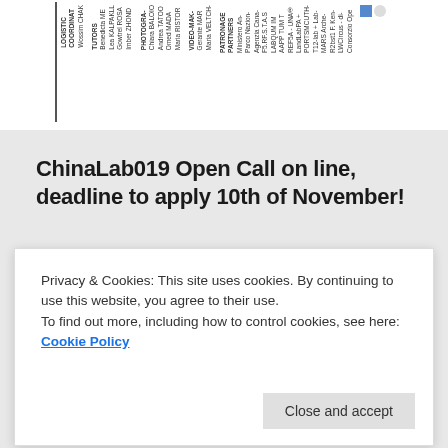[Figure (screenshot): Rotated text block showing credits: LOGISTIC COORDINATOR Wossim CHAK, TUTORS Benedicta ME, Lea KALPAKL, Gowtrel ROSA, Imber ZHON, PHOTOGRAPHY Chiara BALOG, Andrea TATO, Omed MADA, Maria RISTOR, VIDEO-MAKER Gerante MAR, Maria VELTCH, PATRONAGE & PARTNERS Ministero An, Parco Nazion, Agenzia Cana, F5.RF.S.T.A.S, LABQUM IM, AAPP TUM T, REF5A - UNAB, LandiLabPA +, PORTSMOUTH-, T12-lab + Lab +, MARS Arche, Robert F. Ken, LWCircus - di, Consorzio Ope]
ChinaLab019 Open Call on line, deadline to apply 10th of November!
[Figure (photo): Black and white photograph showing an outdoor scene with tree silhouettes and structures]
Privacy & Cookies: This site uses cookies. By continuing to use this website, you agree to their use.
To find out more, including how to control cookies, see here: Cookie Policy
Close and accept